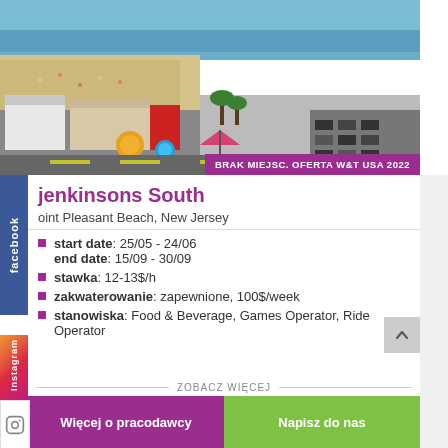[Figure (photo): Aerial view of a beach boardwalk and amusement park area, Point Pleasant Beach, New Jersey, with sandy beach, ocean, rides, and parking lot visible]
BRAK MIEJSC. OFERTA W&T USA 2022
jenkinsons South
oint Pleasant Beach, New Jersey
start date: 25/05 - 24/06
end date: 15/09 - 30/09
stawka: 12-13$/h
zakwaterowanie: zapewnione, 100$/week
stanowiska: Food & Beverage, Games Operator, Ride Operator
ZOBACZ WIĘCEJ
Więcej o pracodawcy
Napisz do nas